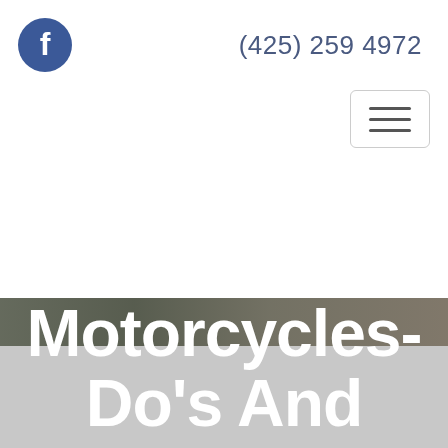f  (425) 259 4972
[Figure (screenshot): Website header with Facebook icon on left, phone number (425) 259 4972 on right, hamburger menu button below right, dark hero image strip, and gray overlay with large white bold text reading 'Motorcycles- Do's And']